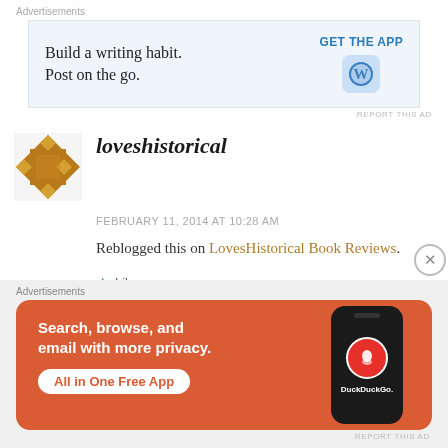Advertisements
[Figure (infographic): WordPress app ad: 'Build a writing habit. Post on the go.' with GET THE APP button and WordPress logo]
REPORT THIS AD
loveshistorical
FEBRUARY 11, 2014 AT 10:28 AM
Reblogged this on LovesHistorical Book Reviews.
Like
Advertisements
[Figure (infographic): DuckDuckGo app ad: 'Search, browse, and email with more privacy. All in One Free App' on orange background with phone graphic]
REPORT THIS AD